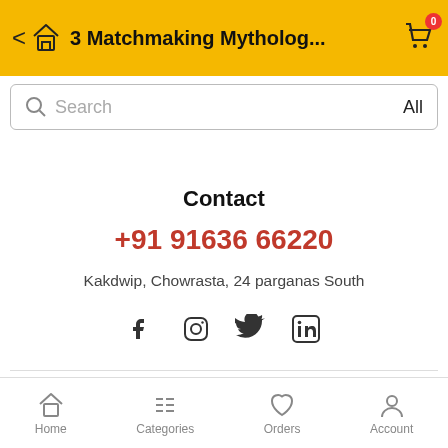3 Matchmaking Mytholog...
Search   All
Contact
+91 91636 66220
Kakdwip, Chowrasta, 24 parganas South
[Figure (infographic): Social media icons: Facebook, Instagram, Twitter, LinkedIn]
Home   Categories   Orders   Account